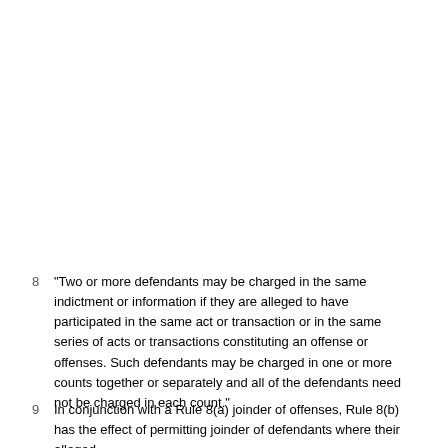8   "Two or more defendants may be charged in the same indictment or information if they are alleged to have participated in the same act or transaction or in the same series of acts or transactions constituting an offense or offenses. Such defendants may be charged in one or more counts together or separately and all of the defendants need not be charged in each count."
9   In conjunction with a Rule 8(a) joinder of offenses, Rule 8(b) has the effect of permitting joinder of defendants where their alleged